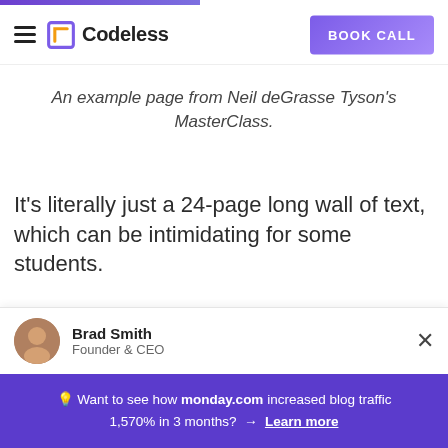Codeless | BOOK CALL
An example page from Neil deGrasse Tyson's MasterClass.
It’s literally just a 24-page long wall of text, which can be intimidating for some students.
However, this bare-bones approach
Brad Smith
Founder & CEO
💡 Want to see how monday.com increased blog traffic 1,570% in 3 months? → Learn more